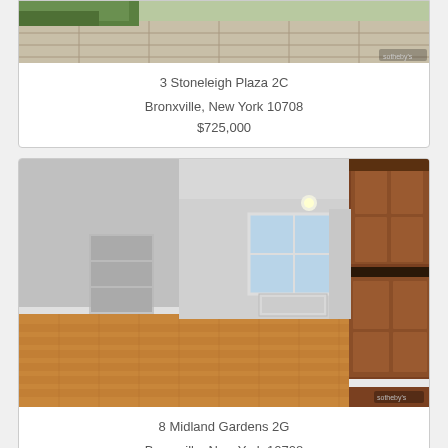[Figure (photo): Outdoor patio/garden area with stone pavers and green foliage, partial view at top of page]
3 Stoneleigh Plaza 2C
Bronxville, New York 10708
$725,000
[Figure (photo): Interior of an apartment showing a living room with hardwood parquet floors, white walls, built-in wood cabinet/bar unit on the right, window with air conditioner in background]
8 Midland Gardens 2G
Bronxville, New York 10708
$630,000